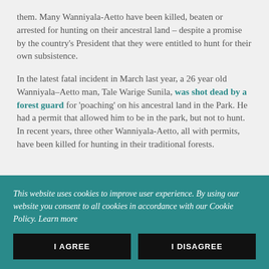them. Many Wanniyala-Aetto have been killed, beaten or arrested for hunting on their ancestral land – despite a promise by the country's President that they were entitled to hunt for their own subsistence.
In the latest fatal incident in March last year, a 26 year old Wanniyala–Aetto man, Tale Warige Sunila, was shot dead by a forest guard for 'poaching' on his ancestral land in the Park. He had a permit that allowed him to be in the park, but not to hunt. In recent years, three other Wanniyala-Aetto, all with permits, have been killed for hunting in their traditional forests.
This website uses cookies to improve user experience. By using our website you consent to all cookies in accordance with our Cookie Policy. Learn more
I AGREE
I DISAGREE